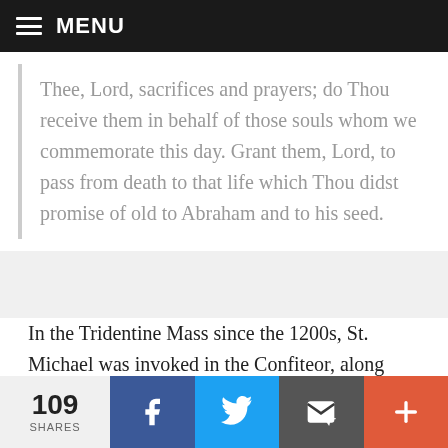MENU
Thee, Lord, sacrifices and prayers; do Thou receive them in behalf of those souls whom we commemorate this day. Grant them, Lord, to pass from death to that life which Thou didst promise of old to Abraham and to his seed.
In the Tridentine Mass since the 1200s, St. Michael was invoked in the Confiteor, along with the Blessed Virgin Mary, St. John the Baptizer, and Saints Peter and Paul; the invocation of these saints inspired the faithful to remember the...